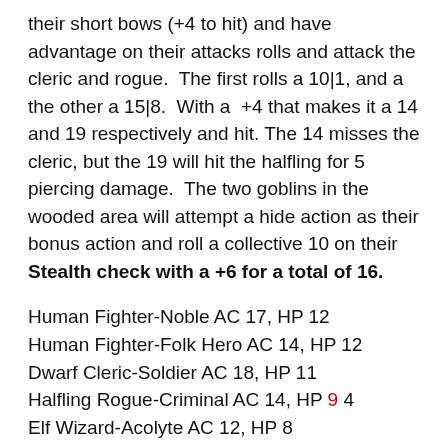their short bows (+4 to hit) and have advantage on their attacks rolls and attack the cleric and rogue.  The first rolls a 10|1, and a the other a 15|8.  With a  +4 that makes it a 14 and 19 respectively and hit. The 14 misses the cleric, but the 19 will hit the halfling for 5 piercing damage.  The two goblins in the wooded area will attempt a hide action as their bonus action and roll a collective 10 on their Stealth check with a +6 for a total of 16.
Human Fighter-Noble AC 17, HP 12
Human Fighter-Folk Hero AC 14, HP 12
Dwarf Cleric-Soldier AC 18, HP 11
Halfling Rogue-Criminal AC 14, HP 9 4
Elf Wizard-Acolyte AC 12, HP 8
Goblin 1 AC 14, HP 7
Goblin 2 AC 14, HP 7
Goblin 3 AC 14, HP 7